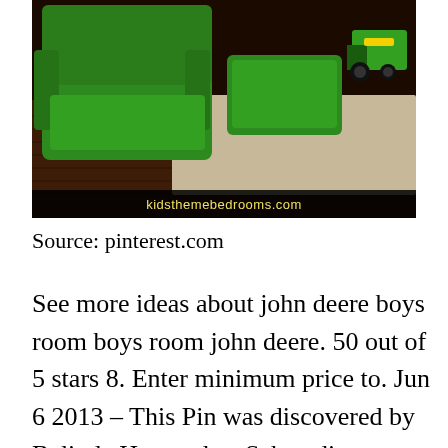[Figure (photo): Green upholstered children's armchair and ottoman on wood floor with beige rug and green toy tractor in background. Watermark reads kidsthemebedrooms.com]
Source: pinterest.com
See more ideas about john deere boys room boys room john deere. 50 out of 5 stars 8. Enter minimum price to. Jun 6 2013 – This Pin was discovered by Belinda Hernandez. Schau dir unsere Auswahl an deere room decor an um die t [CLOSE X] inzigartigen oder